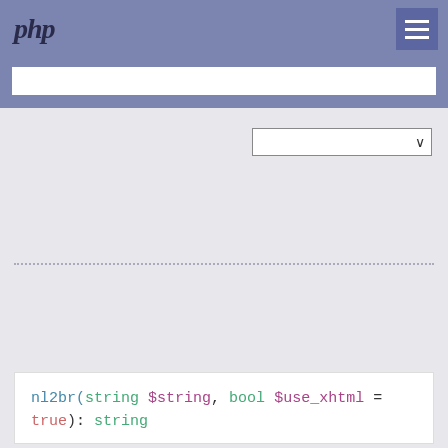php
[Figure (screenshot): PHP documentation page header with logo, search bar, hamburger menu, language dropdown selector, dotted dividers, and function signature code block for nl2br()]